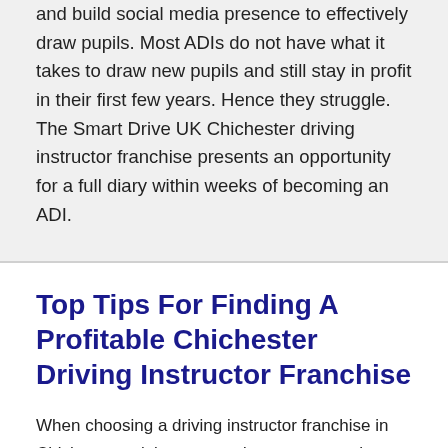and build social media presence to effectively draw pupils. Most ADIs do not have what it takes to draw new pupils and still stay in profit in their first few years. Hence they struggle. The Smart Drive UK Chichester driving instructor franchise presents an opportunity for a full diary within weeks of becoming an ADI.
Top Tips For Finding A Profitable Chichester Driving Instructor Franchise
When choosing a driving instructor franchise in Chichester to join, you need to ensure you have made the right decision.
Making a mistake with the selection process could mean losing time and money. The marketing clout of some of the more popular driving school companies can make them a strong